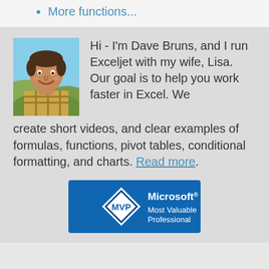More functions...
[Figure (photo): Portrait photo of Dave Bruns outdoors]
Hi - I'm Dave Bruns, and I run Exceljet with my wife, Lisa. Our goal is to help you work faster in Excel. We create short videos, and clear examples of formulas, functions, pivot tables, conditional formatting, and charts. Read more.
[Figure (logo): Microsoft MVP - Most Valuable Professional badge]